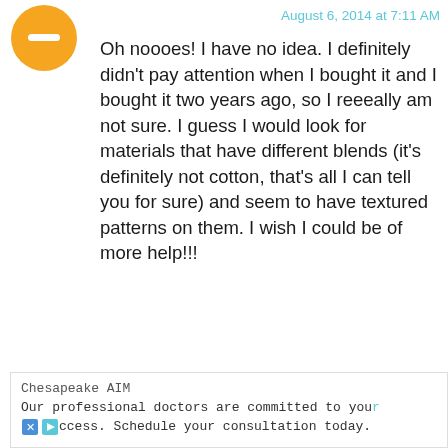[Figure (illustration): Orange circular avatar with a minus/dash symbol in the center, representing a generic user profile icon]
August 6, 2014 at 7:11 AM
Oh noooes! I have no idea. I definitely didn't pay attention when I bought it and I bought it two years ago, so I reeeally am not sure. I guess I would look for materials that have different blends (it's definitely not cotton, that's all I can tell you for sure) and seem to have textured patterns on them. I wish I could be of more help!!!
Reply
[Figure (illustration): Partial view of a second user avatar area, white/light colored rectangle]
August 16, 2014 at 11:24 PM
Can you by
Chesapeake AIM
Our professional doctors are committed to your success. Schedule your consultation today.